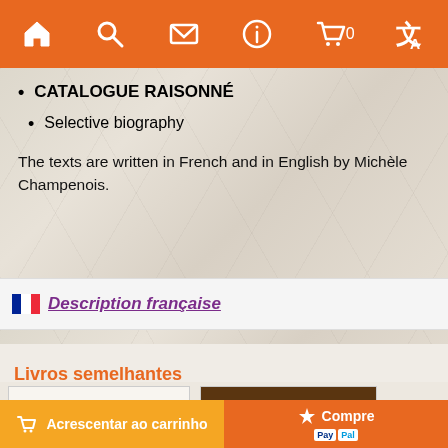Navigation bar with home, search, mail, info, cart (0), translate icons
CATALOGUE RAISONNÉ
Selective biography
The texts are written in French and in English by Michèle Champenois.
🇫🇷 Description française
Livros semelhantes
[Figure (photo): Book cover: RECONNAÎTRE LES STYLES RÉGIONAUX]
[Figure (photo): Book cover: les styles Consulat & Empire]
Acrescentar ao carrinho | Compre (PayPal)